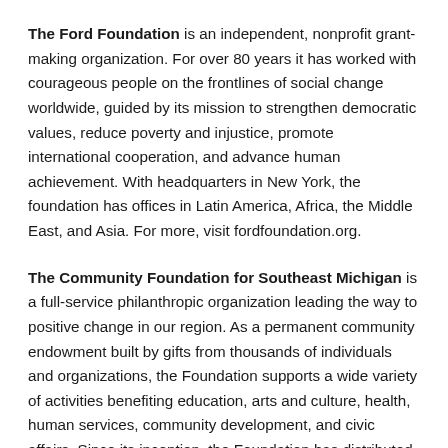The Ford Foundation is an independent, nonprofit grant-making organization. For over 80 years it has worked with courageous people on the frontlines of social change worldwide, guided by its mission to strengthen democratic values, reduce poverty and injustice, promote international cooperation, and advance human achievement. With headquarters in New York, the foundation has offices in Latin America, Africa, the Middle East, and Asia. For more, visit fordfoundation.org.
The Community Foundation for Southeast Michigan is a full-service philanthropic organization leading the way to positive change in our region. As a permanent community endowment built by gifts from thousands of individuals and organizations, the Foundation supports a wide variety of activities benefiting education, arts and culture, health, human services, community development, and civic affairs. Since its inception, the Foundation has distributed more than $1 billion through more than 67,000 grants to nonprofit organizations throughout Wayne, Oakland, Macomb